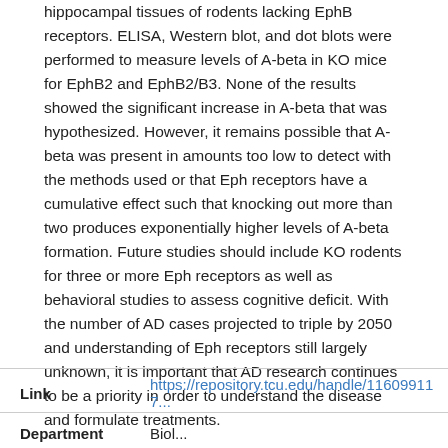hippocampal tissues of rodents lacking EphB receptors. ELISA, Western blot, and dot blots were performed to measure levels of A-beta in KO mice for EphB2 and EphB2/B3. None of the results showed the significant increase in A-beta that was hypothesized. However, it remains possible that A-beta was present in amounts too low to detect with the methods used or that Eph receptors have a cumulative effect such that knocking out more than two produces exponentially higher levels of A-beta formation. Future studies should include KO rodents for three or more Eph receptors as well as behavioral studies to assess cognitive deficit. With the number of AD cases projected to triple by 2050 and understanding of Eph receptors still largely unknown, it is important that AD research continues to be a priority in order to understand the disease and formulate treatments.
Link: https://repository.tcu.edu/handle/116099117...
Department: Biol...